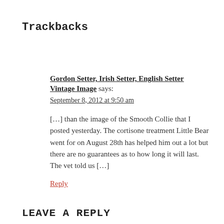Trackbacks
Gordon Setter, Irish Setter, English Setter Vintage Image says:
September 8, 2012 at 9:50 am
[…] than the image of the Smooth Collie that I posted yesterday. The cortisone treatment Little Bear went for on August 28th has helped him out a lot but there are no guarantees as to how long it will last. The vet told us […]
Reply
LEAVE A REPLY